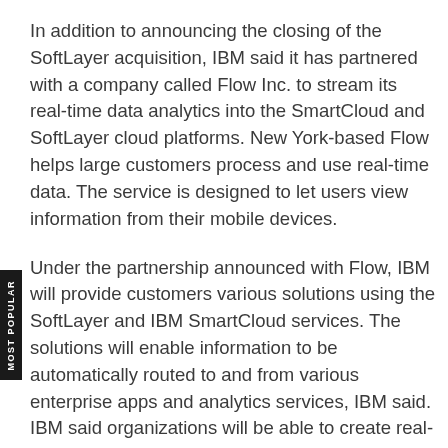In addition to announcing the closing of the SoftLayer acquisition, IBM said it has partnered with a company called Flow Inc. to stream its real-time data analytics into the SmartCloud and SoftLayer cloud platforms. New York-based Flow helps large customers process and use real-time data. The service is designed to let users view information from their mobile devices.
Under the partnership announced with Flow, IBM will provide customers various solutions using the SoftLayer and IBM SmartCloud services. The solutions will enable information to be automatically routed to and from various enterprise apps and analytics services, IBM said. IBM said organizations will be able to create real-time dashboards and mobile apps without requiring IT support.
According to the companies, Flow switched from another undisclosed public cloud provider because it felt the SoftLayer and IBM SmartCloud infrastructure...